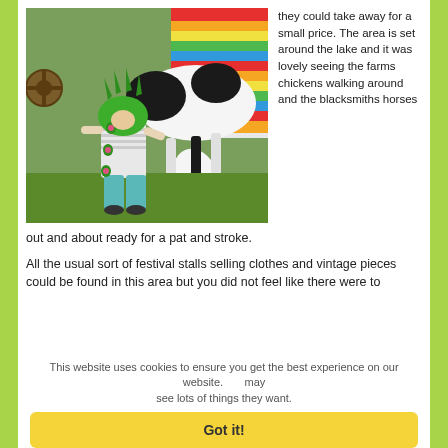[Figure (photo): A child wearing a green dinosaur/dragon costume hat with pink details standing next to a black and white horse grazing on grass, with colorful striped fabric in the background]
they could take away for a small price. The area is set around the lake and it was lovely seeing the farms chickens walking around and the blacksmiths horses out and about ready for a pat and stroke.
All the usual sort of festival stalls selling clothes and vintage pieces could be found in this area but you did not feel like there were to
This website uses cookies to ensure you get the best experience on our website. may see lots of things they want.
Got it!